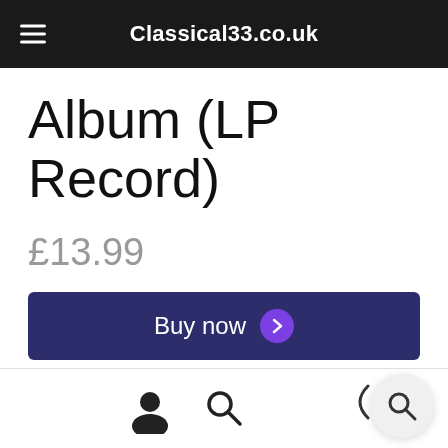Classical33.co.uk
Album (LP Record)
£13.99
In stock
Buy now